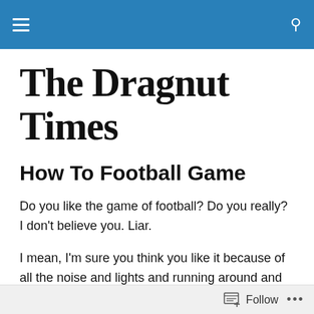The Dragnut Times — navigation bar
The Dragnut Times
How To Football Game
Do you like the game of football? Do you really? I don't believe you. Liar.
I mean, I'm sure you think you like it because of all the noise and lights and running around and whatnot, but I don't think you truly know or appreciate the majesty and wonder of the awesome spectacle that is FOOTBALL.
Follow •••